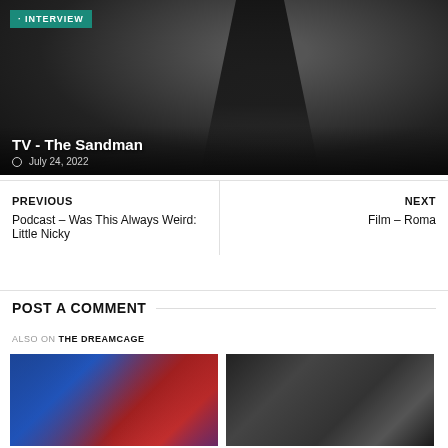[Figure (photo): Hero image of a tall dark cloaked figure (The Sandman) against a grey moody background with an INTERVIEW badge overlay]
TV - The Sandman
July 24, 2022
PREVIOUS
Podcast – Was This Always Weird: Little Nicky
NEXT
Film – Roma
POST A COMMENT
ALSO ON THE DREAMCAGE
[Figure (photo): Thumbnail 1: A woman with lightsaber glow (blue/red) – Star Wars style]
[Figure (photo): Thumbnail 2: A man in dark/moody black and white scene]